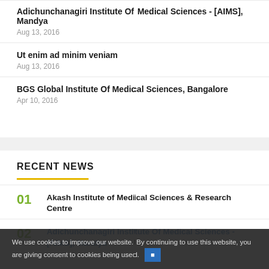Adichunchanagiri Institute Of Medical Sciences - [AIMS], Mandya
Aug 13, 2016
Ut enim ad minim veniam
Aug 13, 2016
BGS Global Institute Of Medical Sciences, Bangalore
Apr 10, 2016
RECENT NEWS
01 Akash Institute of Medical Sciences & Research Centre
02 Adichunchanagiri Institute Of Medical Sciences - [AIMS], Mandya
We use cookies to improve our website. By continuing to use this website, you are giving consent to cookies being used.